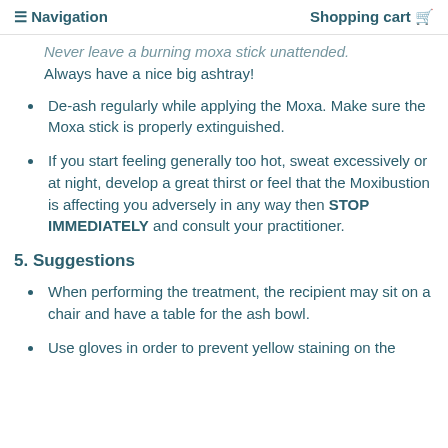≡ Navigation   Shopping cart 🛒
Never leave a burning moxa stick unattended. Always have a nice big ashtray!
De-ash regularly while applying the Moxa. Make sure the Moxa stick is properly extinguished.
If you start feeling generally too hot, sweat excessively or at night, develop a great thirst or feel that the Moxibustion is affecting you adversely in any way then STOP IMMEDIATELY and consult your practitioner.
5. Suggestions
When performing the treatment, the recipient may sit on a chair and have a table for the ash bowl.
Use gloves in order to prevent yellow staining on the